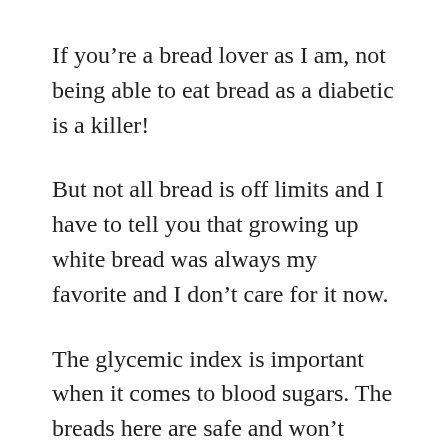If you're a bread lover as I am, not being able to eat bread as a diabetic is a killer!
But not all bread is off limits and I have to tell you that growing up white bread was always my favorite and I don't care for it now.
The glycemic index is important when it comes to blood sugars. The breads here are safe and won't spike your blood sugars.